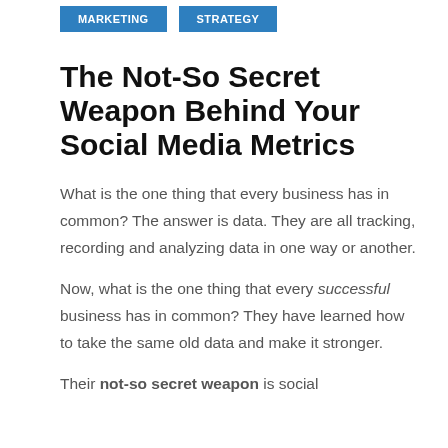MARKETING
STRATEGY
The Not-So Secret Weapon Behind Your Social Media Metrics
What is the one thing that every business has in common? The answer is data. They are all tracking, recording and analyzing data in one way or another.
Now, what is the one thing that every successful business has in common? They have learned how to take the same old data and make it stronger.
Their not-so secret weapon is social